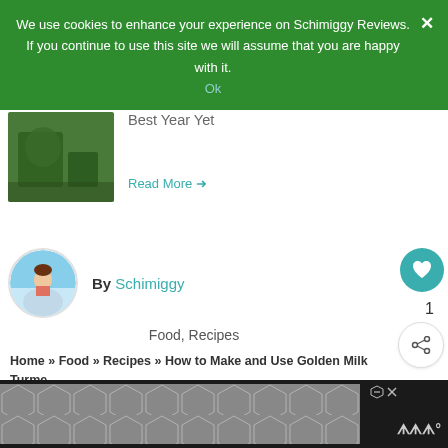We use cookies to enhance your experience on Schimiggy Reviews. If you continue to use this site we will assume that you are happy with it.
Ok
[Figure (photo): Article thumbnail showing a person with dark background]
Best Year Yet
Read More →
[Figure (photo): Circular author avatar showing a person at the beach]
By Schimiggy
Food, Recipes
Home » Food » Recipes » How to Make and Use Golden Milk Turme Paste [RECIPE]
1
WHAT'S NEXT → How to Make a Toiletry Kit
Tags
[Figure (screenshot): Advertisement banner with hexagon pattern and Millennial logo]